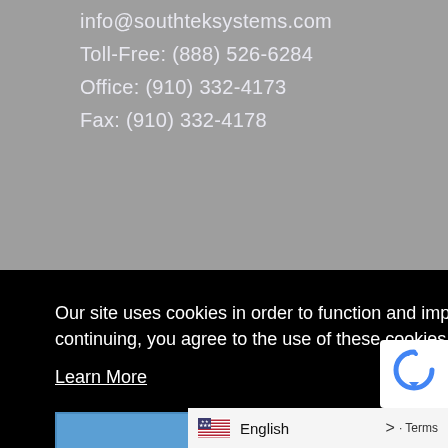info@southteksystems.com
Toll-Free: (888) 526-6284
Office: (910) 332-4173
Fax: (910) 332-4178
[Figure (illustration): US flag badge with text PROUDLY above it and stars on sides]
Our site uses cookies in order to function and improve your experience. By continuing, you agree to the use of these cookies.
Learn More
I Agree
[Figure (logo): reCAPTCHA logo badge (partial)]
English